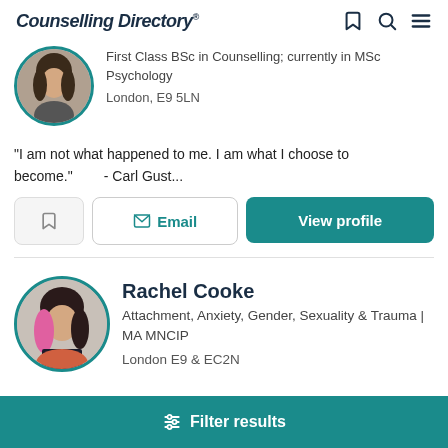Counselling Directory
First Class BSc in Counselling; currently in MSc Psychology
London, E9 5LN
"I am not what happened to me. I am what I choose to become." - Carl Gust...
Email | View profile
Rachel Cooke
Attachment, Anxiety, Gender, Sexuality & Trauma | MA MNCIP
London E9 & EC2N
Filter results